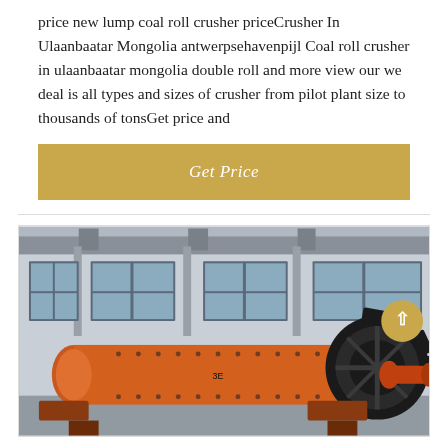price new lump coal roll crusher priceCrusher In Ulaanbaatar Mongolia antwerpsehavenpijl Coal roll crusher in ulaanbaatar mongolia double roll and more view our we deal is all types and sizes of crusher from pilot plant size to thousands of tonsGet price and
[Figure (other): Gold/tan colored button with white italic text reading 'Get Price']
[Figure (photo): Photo of a large orange industrial ball mill or cylindrical crusher machine, with a large black gear wheel on its right end, positioned in front of a factory building with windows.]